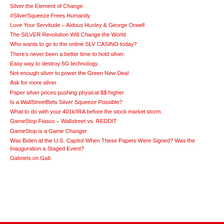Silver the Element of Change
#SilverSqueeze Frees Humanity
Love Your Servitude – Aldous Huxley & George Orwell
The SILVER Revolution Will Change the World
Who wants to go to the online SLV CASINO today?
There's never been a better time to hold silver.
Easy way to destroy 5G technology
Not enough silver to power the Green New Deal
Ask for more silver
Paper silver prices pushing physical $$ higher
Is a WallStreetBets Silver Squeeze Possible?
What to do with your 401k/IRA before the stock market storm
GameStop Fiasco – Wallstreet vs. REDDIT
GameStop is a Game Changer
Was Biden at the U.S. Capitol When These Papers Were Signed? Was the Inauguration a Staged Event?
Gabriels on Gab